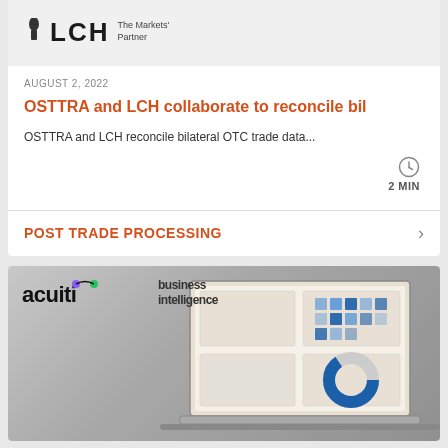[Figure (logo): LCH logo with tagline 'The Markets' Partner']
AUGUST 2, 2022
OSTTRA and LCH collaborate to reconcile bil
OSTTRA and LCH reconcile bilateral OTC trade data...
2 MIN
POST TRADE PROCESSING
[Figure (screenshot): Acuiti business intelligence branding with laptop showing dashboard analytics]